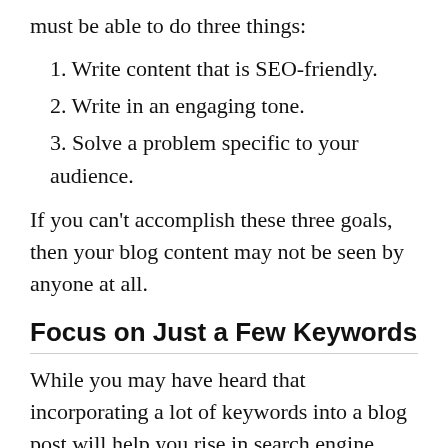must be able to do three things:
1. Write content that is SEO-friendly.
2. Write in an engaging tone.
3. Solve a problem specific to your audience.
If you can't accomplish these three goals, then your blog content may not be seen by anyone at all.
Focus on Just a Few Keywords
While you may have heard that incorporating a lot of keywords into a blog post will help you rise in search engine rankings, this is entirely untrue.